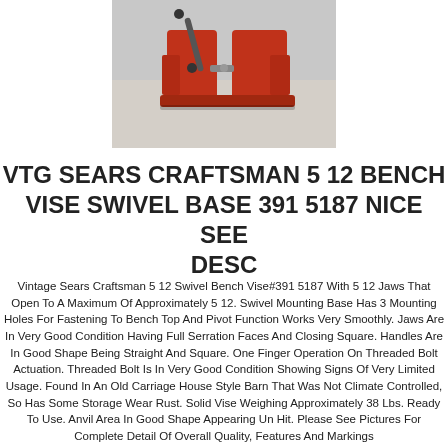[Figure (photo): Photo of a red vintage bench vise with swivel base on a workbench surface]
VTG SEARS CRAFTSMAN 5 12 BENCH VISE SWIVEL BASE 391 5187 NICE SEE DESC
Vintage Sears Craftsman 5 12 Swivel Bench Vise#391 5187 With 5 12 Jaws That Open To A Maximum Of Approximately 5 12. Swivel Mounting Base Has 3 Mounting Holes For Fastening To Bench Top And Pivot Function Works Very Smoothly. Jaws Are In Very Good Condition Having Full Serration Faces And Closing Square. Handles Are In Good Shape Being Straight And Square. One Finger Operation On Threaded Bolt Actuation. Threaded Bolt Is In Very Good Condition Showing Signs Of Very Limited Usage. Found In An Old Carriage House Style Barn That Was Not Climate Controlled, So Has Some Storage Wear Rust. Solid Vise Weighing Approximately 38 Lbs. Ready To Use. Anvil Area In Good Shape Appearing Un Hit. Please See Pictures For Complete Detail Of Overall Quality, Features And Markings